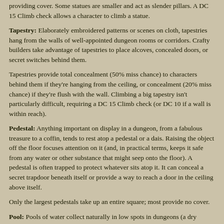providing cover. Some statues are smaller and act as slender pillars. A DC 15 Climb check allows a character to climb a statue.
Tapestry: Elaborately embroidered patterns or scenes on cloth, tapestries hang from the walls of well-appointed dungeon rooms or corridors. Crafty builders take advantage of tapestries to place alcoves, concealed doors, or secret switches behind them.
Tapestries provide total concealment (50% miss chance) to characters behind them if they're hanging from the ceiling, or concealment (20% miss chance) if they're flush with the wall. Climbing a big tapestry isn't particularly difficult, requiring a DC 15 Climb check (or DC 10 if a wall is within reach).
Pedestal: Anything important on display in a dungeon, from a fabulous treasure to a coffin, tends to rest atop a pedestal or a dais. Raising the object off the floor focuses attention on it (and, in practical terms, keeps it safe from any water or other substance that might seep onto the floor). A pedestal is often trapped to protect whatever sits atop it. It can conceal a secret trapdoor beneath itself or provide a way to reach a door in the ceiling above itself.
Only the largest pedestals take up an entire square; most provide no cover.
Pool: Pools of water collect naturally in low spots in dungeons (a dry dungeon is rare). Pools can also be wells or natural underground springs, or they can be intentionally created basins, cisterns, and fountains. In any event, water is fairly common in dungeons, harboring sightless fish and sometimes aquatic monsters. Pools provide water for dungeon denizens, and thus are as important an area for a predator to